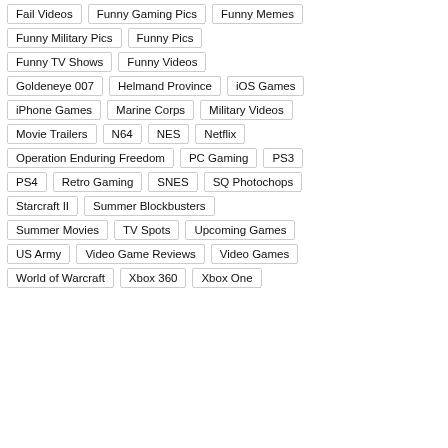Fail Videos
Funny Gaming Pics
Funny Memes
Funny Military Pics
Funny Pics
Funny TV Shows
Funny Videos
Goldeneye 007
Helmand Province
iOS Games
iPhone Games
Marine Corps
Military Videos
Movie Trailers
N64
NES
Netflix
Operation Enduring Freedom
PC Gaming
PS3
PS4
Retro Gaming
SNES
SQ Photochops
Starcraft II
Summer Blockbusters
Summer Movies
TV Spots
Upcoming Games
US Army
Video Game Reviews
Video Games
World of Warcraft
Xbox 360
Xbox One